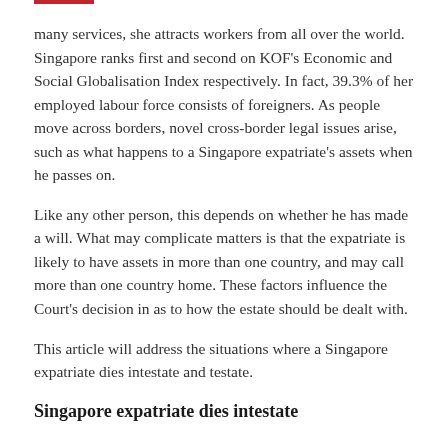many services, she attracts workers from all over the world. Singapore ranks first and second on KOF's Economic and Social Globalisation Index respectively. In fact, 39.3% of her employed labour force consists of foreigners. As people move across borders, novel cross-border legal issues arise, such as what happens to a Singapore expatriate's assets when he passes on.
Like any other person, this depends on whether he has made a will. What may complicate matters is that the expatriate is likely to have assets in more than one country, and may call more than one country home. These factors influence the Court's decision in as to how the estate should be dealt with.
This article will address the situations where a Singapore expatriate dies intestate and testate.
Singapore expatriate dies intestate